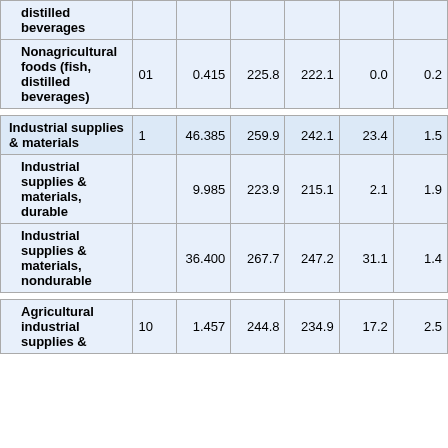| Category | Code | Value1 | Value2 | Value3 | Value4 | Value5 |
| --- | --- | --- | --- | --- | --- | --- |
| distilled beverages |  |  |  |  |  |  |
| Nonagricultural foods (fish, distilled beverages) | 01 | 0.415 | 225.8 | 222.1 | 0.0 | 0.2 |
| Industrial supplies & materials | 1 | 46.385 | 259.9 | 242.1 | 23.4 | 1.5 |
| Industrial supplies & materials, durable |  | 9.985 | 223.9 | 215.1 | 2.1 | 1.9 |
| Industrial supplies & materials, nondurable |  | 36.400 | 267.7 | 247.2 | 31.1 | 1.4 |
| Agricultural industrial supplies & | 10 | 1.457 | 244.8 | 234.9 | 17.2 | 2.5 |